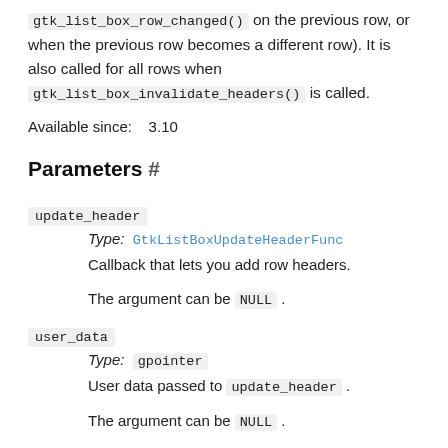gtk_list_box_row_changed() on the previous row, or when the previous row becomes a different row). It is also called for all rows when gtk_list_box_invalidate_headers() is called.
Available since: 3.10
Parameters #
update_header
Type: GtkListBoxUpdateHeaderFunc
Callback that lets you add row headers.
The argument can be NULL.
user_data
Type: gpointer
User data passed to update_header.
The argument can be NULL.
The data is owned by the caller of the function.